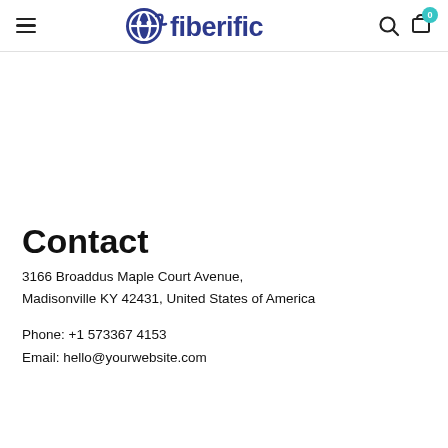fiberific
Contact
3166 Broaddus Maple Court Avenue,
Madisonville KY 42431, United States of America
Phone: +1 573367 4153
Email: hello@yourwebsite.com